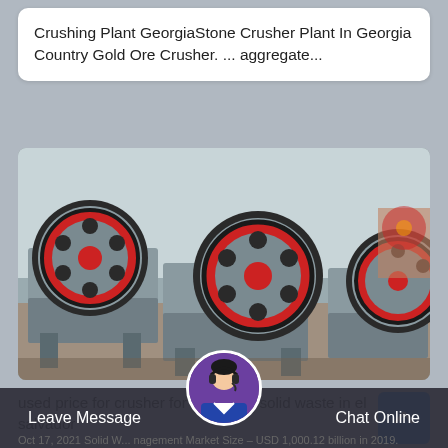Crushing Plant GeorgiaStone Crusher Plant In Georgia Country Gold Ore Crusher. ... aggregate...
[Figure (photo): Industrial jaw crushers with red flywheel discs, grey metal body, photographed in a warehouse/factory setting. Three crusher units visible side by side.]
used price for crusher for municipal solid waste in el salvador
Oct 17, 2021 Solid W... nagement Market Size – USD 1,000.12 billion in 2019. Market
Leave Message   Chat Online